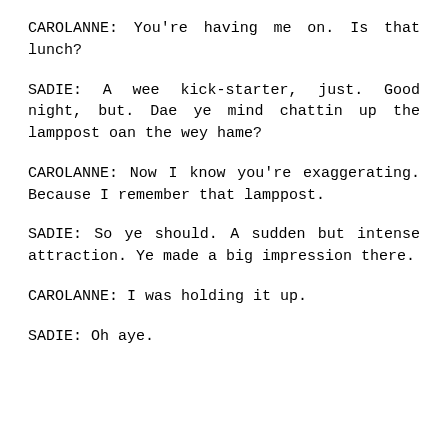CAROLANNE: You're having me on. Is that lunch?
SADIE: A wee kick-starter, just. Good night, but. Dae ye mind chattin up the lamppost oan the wey hame?
CAROLANNE: Now I know you're exaggerating. Because I remember that lamppost.
SADIE: So ye should. A sudden but intense attraction. Ye made a big impression there.
CAROLANNE: I was holding it up.
SADIE: Oh aye.